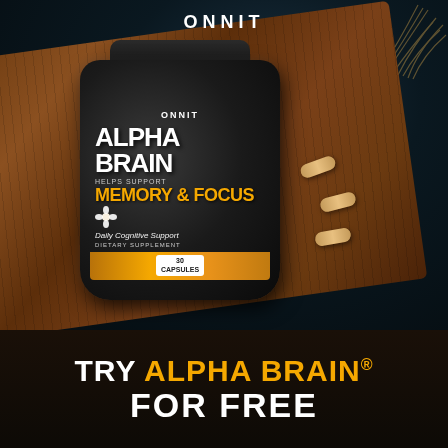[Figure (photo): Onnit Alpha Brain supplement bottle lying on a wooden board with capsules scattered nearby, on a dark background. Bottle label reads: ONNIT, ALPHA BRAIN, HELPS SUPPORT, MEMORY & FOCUS, Daily Cognitive Support, DIETARY SUPPLEMENT, 30 CAPSULES.]
ONNIT
TRY ALPHA BRAIN® FOR FREE